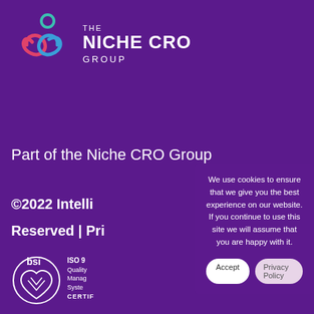[Figure (logo): The Niche CRO Group logo with abstract people/heart shapes in teal, pink, and blue colors, alongside THE NICHE CRO GROUP text]
Part of the Niche CRO Group
©2022 Intelli
Reserved | Pri
[Figure (logo): BSI certification badge - ISO 9 Quality Management Systems CERTIF]
We use cookies to ensure that we give you the best experience on our website. If you continue to use this site we will assume that you are happy with it.
Accept
Privacy Policy